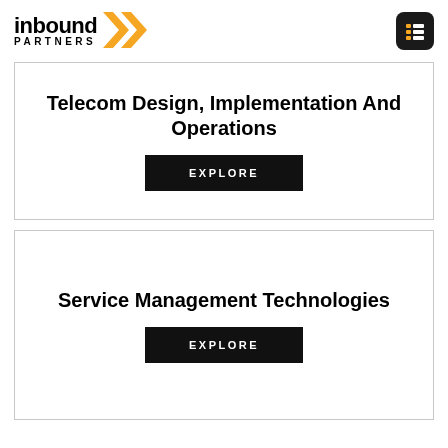inbound PARTNERS
Telecom Design, Implementation And Operations
EXPLORE
Service Management Technologies
EXPLORE